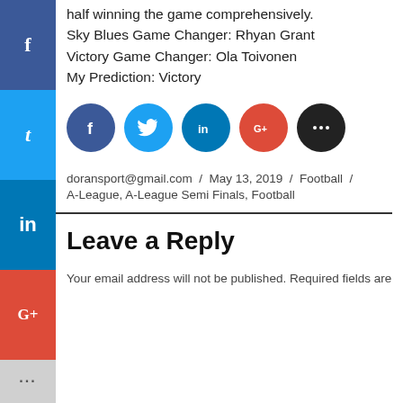half winning the game comprehensively.
Sky Blues Game Changer: Rhyan Grant
Victory Game Changer: Ola Toivonen
My Prediction: Victory
[Figure (infographic): Social share buttons: Facebook, Twitter, LinkedIn, Google+, More (circular icons in a row)]
doransport@gmail.com / May 13, 2019 / Football / A-League, A-League Semi Finals, Football
Leave a Reply
Your email address will not be published. Required fields are